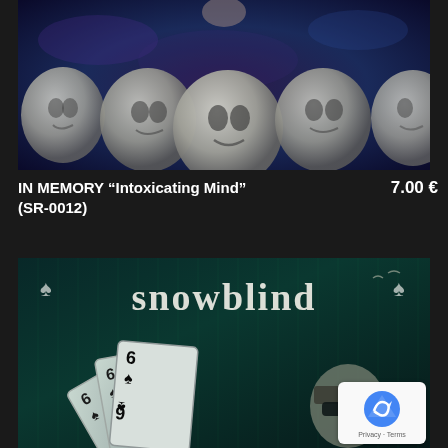[Figure (photo): Album cover for IN MEMORY 'Intoxicating Mind' showing multiple ghostly sculpted face spheres against a dark purple-blue atmospheric background with a person visible at top]
IN MEMORY “Intoxicating Mind” (SR-0012)
7.00 €
[Figure (photo): Album cover for Snowblind showing playing cards (sixes of spades) fanned out, a person wearing sunglasses and a bandana, with spade symbols in corners and the band name 'snowblind' in stylized gothic font at top, teal/green matrix-style background]